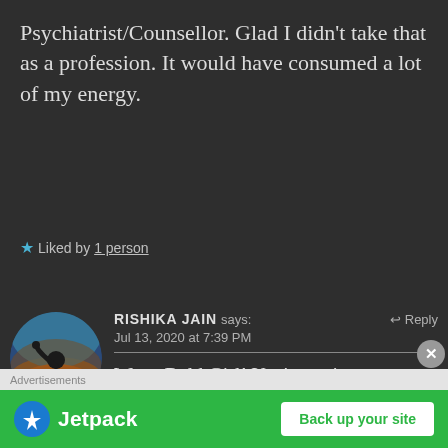Psychiatrist/Counsellor. Glad I didn't take that as a profession. It would have consumed a lot of my energy.
★ Liked by 1 person
RISHIKA JAIN says:   ↩ Reply
Jul 13, 2020 at 7:39 PM
Wow, Bold Girl! You've written something people often neglect. And you are absolutely right, it's
[Figure (illustration): Advertisement banner for Jetpack with green background, Jetpack logo and 'Back up your site' button]
Advertisements